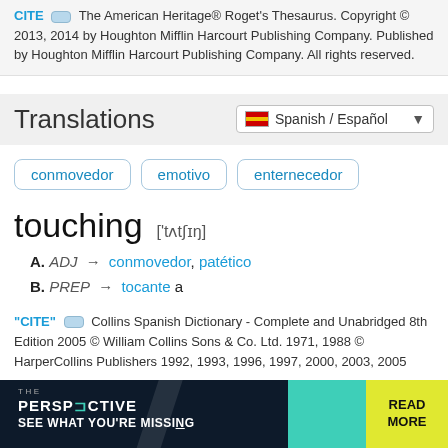CITE — The American Heritage® Roget's Thesaurus. Copyright © 2013, 2014 by Houghton Mifflin Harcourt Publishing Company. Published by Houghton Mifflin Harcourt Publishing Company. All rights reserved.
Translations — Spanish / Español
conmovedor
emotivo
enternecedor
touching  ['tʌtʃɪŋ]
A. ADJ → conmovedor, patético
B. PREP → tocante a
"CITE" — Collins Spanish Dictionary - Complete and Unabridged 8th Edition 2005 © William Collins Sons & Co. Ltd. 1971, 1988 © HarperCollins Publishers 1992, 1993, 1996, 1997, 2000, 2003, 2005
[Figure (screenshot): Advertisement banner: THE PERSPECTIVE - SEE WHAT YOU'RE MISSING with READ MORE button]